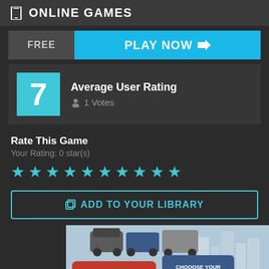ONLINE GAMES
FREE
PLAY NOW →
7
Average User Rating
1 Votes
Rate This Game
Your Rating: 0 star(s)
ADD TO YOUR LIBRARY
[Figure (illustration): Rail Nation game banner showing trains and a conductor with text CHOOOSE YOUR LOCOMOTIVE!]